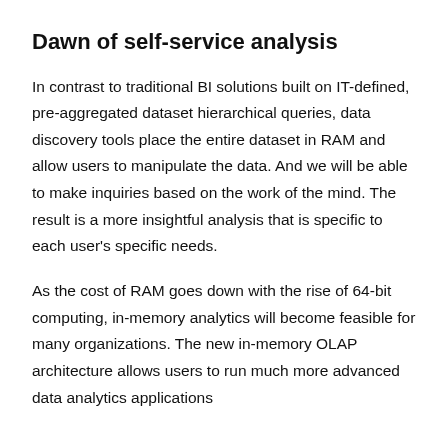Dawn of self-service analysis
In contrast to traditional BI solutions built on IT-defined, pre-aggregated dataset hierarchical queries, data discovery tools place the entire dataset in RAM and allow users to manipulate the data. And we will be able to make inquiries based on the work of the mind. The result is a more insightful analysis that is specific to each user's specific needs.
As the cost of RAM goes down with the rise of 64-bit computing, in-memory analytics will become feasible for many organizations. The new in-memory OLAP architecture allows users to run much more advanced data analytics applications